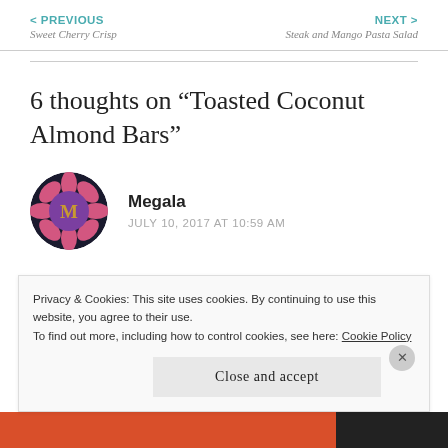< PREVIOUS Sweet Cherry Crisp | NEXT > Steak and Mango Pasta Salad
6 thoughts on “Toasted Coconut Almond Bars”
[Figure (illustration): Circular avatar with a stylized mandala/flower design in pink and purple with the letter M in the center, on a dark background]
Megala
JULY 10, 2017 AT 10:59 AM
They look delicious & nutritious bars and I love to try
Privacy & Cookies: This site uses cookies. By continuing to use this website, you agree to their use. To find out more, including how to control cookies, see here: Cookie Policy
Close and accept